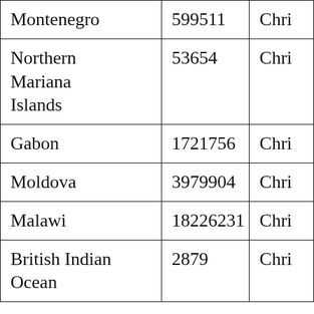| Montenegro | 599511 | Chri |
| Northern Mariana Islands | 53654 | Chri |
| Gabon | 1721756 | Chri |
| Moldova | 3979904 | Chri |
| Malawi | 18226231 | Chri |
| British Indian Ocean | 2879 | Chri |